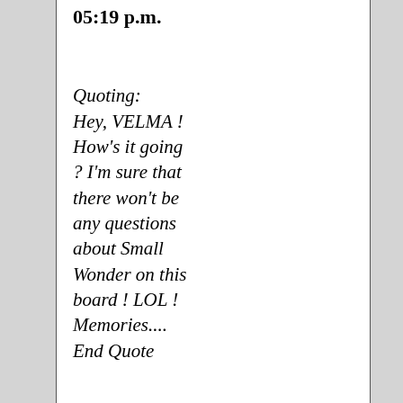05:19 p.m.
Quoting: Hey, VELMA ! How's it going ? I'm sure that there won't be any questions about Small Wonder on this board ! LOL ! Memories.... End Quote
I CERTAINLY hope not